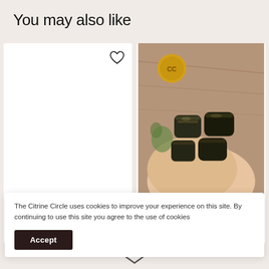You may also like
[Figure (photo): White card with heart icon for Green Aventurine Tumbled Crystal product]
Green Aventurine Tumbled Crystal
[Figure (photo): Photo of hands holding mixed gold and blue tiger's eye tumbled crystals with CC logo badge]
Mixed Gold & Blue Ti... Tumbled Crystal
The Citrine Circle uses cookies to improve your experience on this site. By continuing to use this site you agree to the use of cookies
Accept